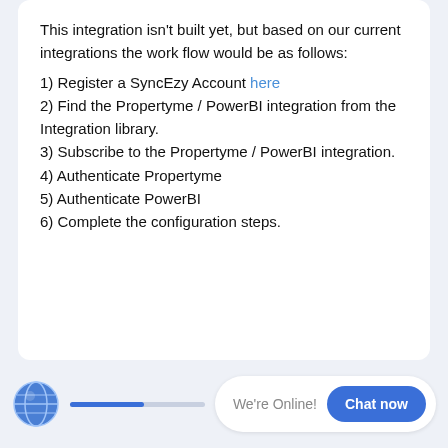This integration isn't built yet, but based on our current integrations the work flow would be as follows:
1) Register a SyncEzy Account here
2) Find the Propertyme / PowerBI integration from the Integration library.
3) Subscribe to the Propertyme / PowerBI integration.
4) Authenticate Propertyme
5) Authenticate PowerBI
6) Complete the configuration steps.